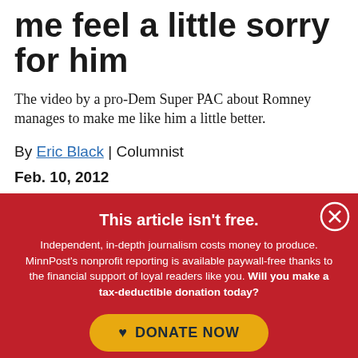me feel a little sorry for him
The video by a pro-Dem Super PAC about Romney manages to make me like him a little better.
By Eric Black | Columnist
Feb. 10, 2012
This article isn't free. Independent, in-depth journalism costs money to produce. MinnPost's nonprofit reporting is available paywall-free thanks to the financial support of loyal readers like you. Will you make a tax-deductible donation today? DONATE NOW